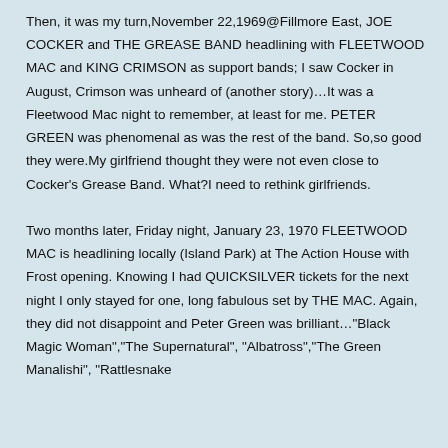Then, it was my turn,November 22,1969@Fillmore East, JOE COCKER and THE GREASE BAND headlining with FLEETWOOD MAC and KING CRIMSON as support bands; I saw Cocker in August, Crimson was unheard of (another story)…It was a Fleetwood Mac night to remember, at least for me. PETER GREEN was phenomenal as was the rest of the band. So,so good they were.My girlfriend thought they were not even close to Cocker's Grease Band. What?I need to rethink girlfriends.

Two months later, Friday night, January 23, 1970 FLEETWOOD MAC is headlining locally (Island Park) at The Action House with Frost opening. Knowing I had QUICKSILVER tickets for the next night I only stayed for one, long fabulous set by THE MAC. Again, they did not disappoint and Peter Green was brilliant…"Black Magic Woman","The Supernatural", "Albatross","The Green Manalishi", "Rattlesnake